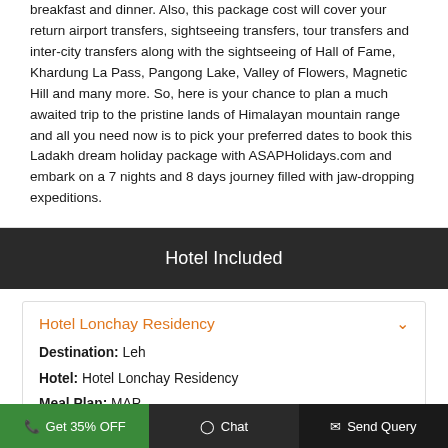breakfast and dinner. Also, this package cost will cover your return airport transfers, sightseeing transfers, tour transfers and inter-city transfers along with the sightseeing of Hall of Fame, Khardung La Pass, Pangong Lake, Valley of Flowers, Magnetic Hill and many more. So, here is your chance to plan a much awaited trip to the pristine lands of Himalayan mountain range and all you need now is to pick your preferred dates to book this Ladakh dream holiday package with ASAPHolidays.com and embark on a 7 nights and 8 days journey filled with jaw-dropping expeditions.
Hotel Included
Hotel Lonchay Residency
Destination: Leh
Hotel: Hotel Lonchay Residency
Meal Plan: MAP
Rooms: Standard
Nights: 3
Get 35% OFF  Chat  Send Query